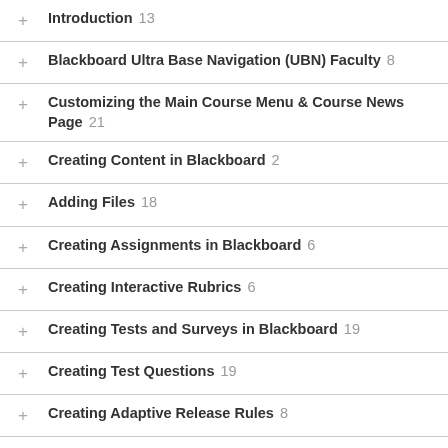Introduction  13
Blackboard Ultra Base Navigation (UBN) Faculty  8
Customizing the Main Course Menu & Course News Page  21
Creating Content in Blackboard  2
Adding Files  18
Creating Assignments in Blackboard  6
Creating Interactive Rubrics  6
Creating Tests and Surveys in Blackboard  19
Creating Test Questions  19
Creating Adaptive Release Rules  8